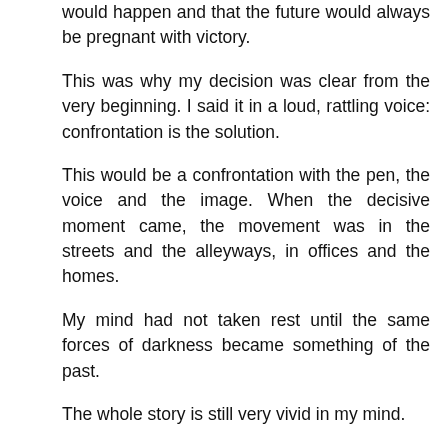would happen and that the future would always be pregnant with victory.
This was why my decision was clear from the very beginning. I said it in a loud, rattling voice: confrontation is the solution.
This would be a confrontation with the pen, the voice and the image. When the decisive moment came, the movement was in the streets and the alleyways, in offices and the homes.
My mind had not taken rest until the same forces of darkness became something of the past.
The whole story is still very vivid in my mind.
The dream started on Mahmoud Bassiouni Street in downtown Cairo in 1996. This dream included other important stations, including Champollion Street, Hoda Shaarawy, 3 Mossadeq Street, and finally Building no. 57 of the same street.
This was a long journey, one that exceeds a quarter of a century, in more of a quest for providing of buildings and it